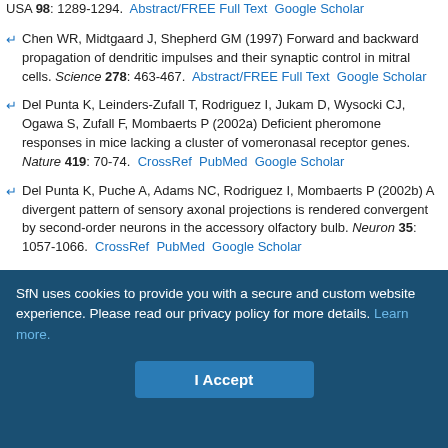Chen WR, Midtgaard J, Shepherd GM (1997) Forward and backward propagation of dendritic impulses and their synaptic control in mitral cells. Science 278: 463-467. Abstract/FREE Full Text  Google Scholar
Del Punta K, Leinders-Zufall T, Rodriguez I, Jukam D, Wysocki CJ, Ogawa S, Zufall F, Mombaerts P (2002a) Deficient pheromone responses in mice lacking a cluster of vomeronasal receptor genes. Nature 419: 70-74. CrossRef  PubMed  Google Scholar
Del Punta K, Puche A, Adams NC, Rodriguez I, Mombaerts P (2002b) A divergent pattern of sensory axonal projections is rendered convergent by second-order neurons in the accessory olfactory bulb. Neuron 35: 1057-1066. CrossRef  PubMed  Google Scholar
Dulac C, Torello AT (2003) Molecular detection of pheromone signals in mammals: from genes to behaviour. Nat Rev Neurosci 4: 551-562.